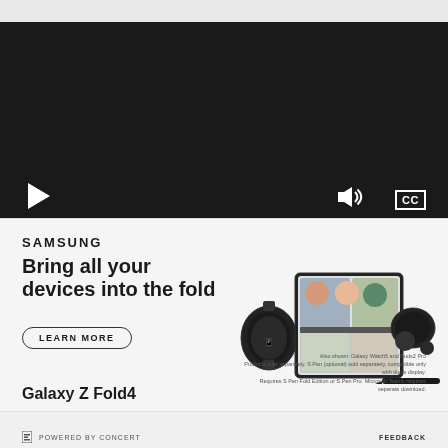[Figure (screenshot): Video player with black background, play button, volume icon, and CC button]
[Figure (infographic): Samsung advertisement: 'Bring all your devices into the fold' with Galaxy Z Fold4 product image, Galaxy Watch5, Galaxy Buds2 Pro, and S Pen. LEARN MORE button. Also shown: Galaxy Watch5 and Buds2 Pro disclaimer text.]
POWERED BY CONCERT   FEEDBACK